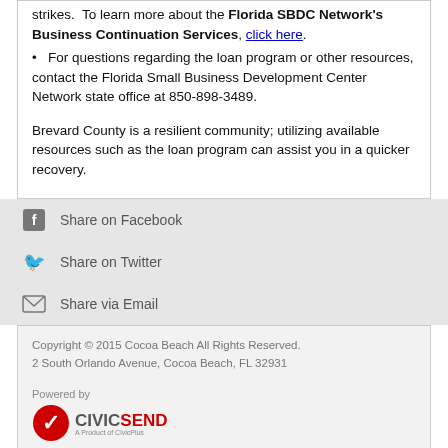strikes. To learn more about the Florida SBDC Network's Business Continuation Services, click here.
For questions regarding the loan program or other resources, contact the Florida Small Business Development Center Network state office at 850-898-3489.
Brevard County is a resilient community; utilizing available resources such as the loan program can assist you in a quicker recovery.
Share on Facebook
Share on Twitter
Share via Email
Copyright © 2015 Cocoa Beach All Rights Reserved.
2 South Orlando Avenue, Cocoa Beach, FL 32931
Powered by CIVICSEND A Product of CivicPlus